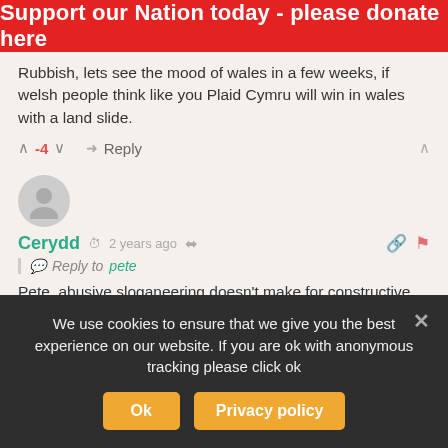Support our Nation today - please donate here
Rubbish, lets see the mood of wales in a few weeks, if welsh people think like you Plaid Cymru will win in wales with a land slide.
▲ -4 ▼ ➔ Reply ∧
[Figure (other): User avatar placeholder circle]
Cerydd  ⏱ 2 years ago  ⎘ 🔗 🚩
Reply to pete
Pete, abusive sloganeering doesn't make for constructive dialogue and you appear to have missed the fact that Plaid has entered into a pro-Remain pact that will preclude the possibility of a landslide. Or
We use cookies to ensure that we give you the best experience on our website. If you are ok with anonymous tracking please click ok
Ok  Privacy policy